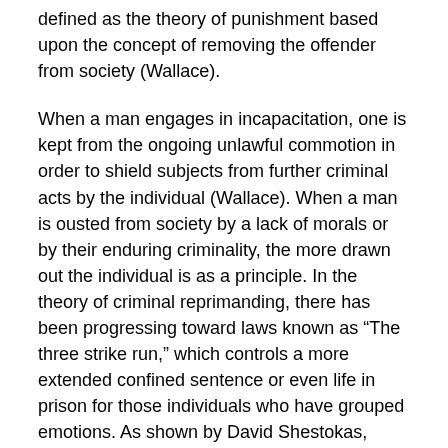defined as the theory of punishment based upon the concept of removing the offender from society (Wallace).
When a man engages in incapacitation, one is kept from the ongoing unlawful commotion in order to shield subjects from further criminal acts by the individual (Wallace). When a man is ousted from society by a lack of morals or by their enduring criminality, the more drawn out the individual is as a principle. In the theory of criminal reprimanding, there has been progressing toward laws known as “The three strike run,” which controls a more extended confined sentence or even life in prison for those individuals who have grouped emotions. As shown by David Shestokas, “When a subject party has not been checked before discipline, protection of potential setbacks from that transgressor changes into a fundamental idea.” He is likewise conferred that as time goes on, it is to community benefit to defend oneself by a conviction. The thing with incapacitation, however, is the fact that incapacitation will work for as long as the law gives allowance for the criminal to be closed up which is important for society as a